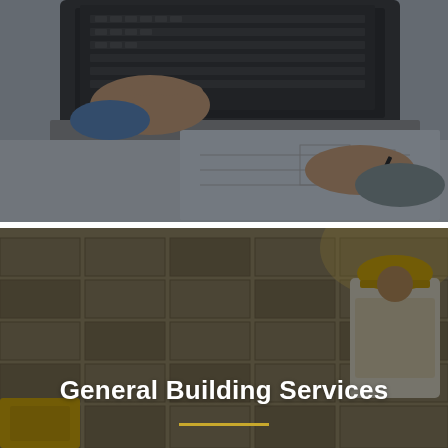[Figure (photo): Overhead view of a person's hands on a laptop keyboard while another hand holds a pen over architectural/engineering blueprints on a desk. Dark overlay applied to the image.]
[Figure (photo): Construction site scene with a brick/block wall background. A person in a yellow hard hat and white safety vest is visible on the right side. Yellow safety equipment visible at bottom left. Dark semi-transparent overlay applied. White bold text reads 'General Building Services' with a gold/yellow horizontal line beneath it.]
General Building Services